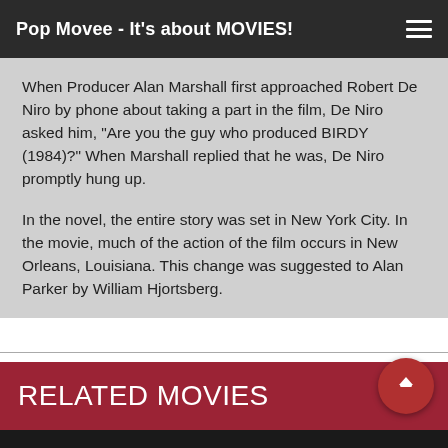Pop Movee - It's about MOVIES!
When Producer Alan Marshall first approached Robert De Niro by phone about taking a part in the film, De Niro asked him, "Are you the guy who produced BIRDY (1984)?" When Marshall replied that he was, De Niro promptly hung up.
In the novel, the entire story was set in New York City. In the movie, much of the action of the film occurs in New Orleans, Louisiana. This change was suggested to Alan Parker by William Hjortsberg.
RELATED MOVIES